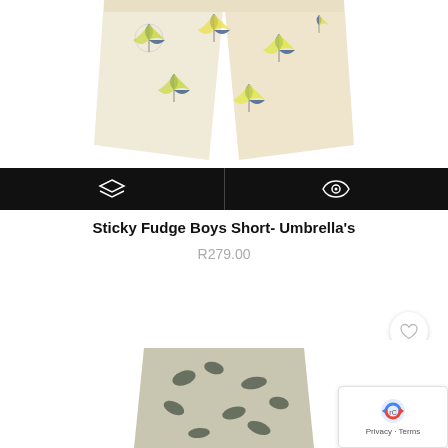[Figure (photo): Top portion of boys swim shorts with beach umbrella print on cream/off-white fabric, shown from above against white background]
[Figure (infographic): Black toolbar with two icon buttons: a layers/stack icon on the left and an eye/view icon on the right, separated by a vertical divider]
Sticky Fudge Boys Short- Umbrella’s
R279.00
[Figure (photo): Bottom portion of a second product - boys shorts with dark floral/botanical print, partially visible at bottom of page]
[Figure (other): Google reCAPTCHA badge with reCAPTCHA logo and Privacy - Terms text]